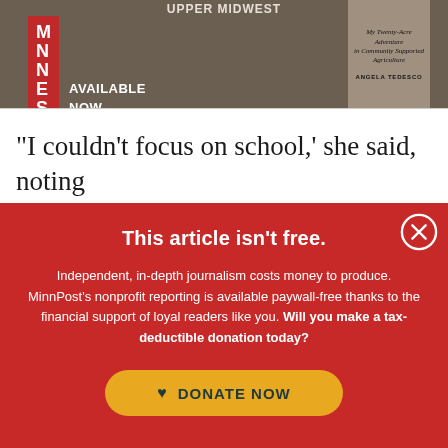[Figure (illustration): Book advertisement banner with brown/taupe background. Shows red 'MN NE SO TA' logo block on left, 'AVAILABLE NOW' text in white bold, and a book cover image on the right featuring handwritten-style title and author name 'ANGELA TEDESCO'.]
“I couldn’t focus on school,’ she said, noting
This article isn't free.
Independent, in-depth journalism costs money to produce. MinnPost’s nonprofit reporting is available paywall-free thanks to the financial support of loyal readers like you. Will you make a tax-deductible donation today?
[Figure (other): Yellow rounded rectangle button with dark teal heart icon and text 'DONATE NOW' in bold dark teal uppercase letters.]